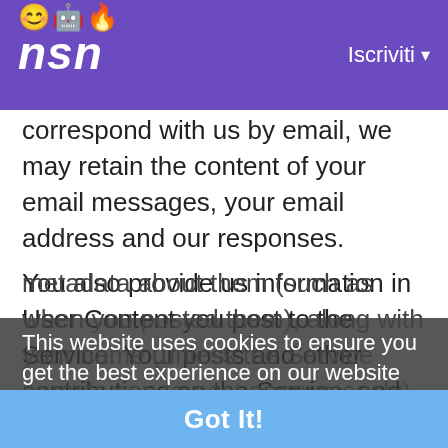NSN — Iscriviti
correspond with us by email, we may retain the content of your email messages, your email address and our responses.
You also provide us information in User Content you post to the Service. Your posts and other contributions on the Service, and metadata about them (such as when you posted them), along with your name (unless the Service permits you to post anonymously). This information may be searched by search engines and be republished elsewhere on the Web in accordance with our Terms of Service.
This website uses cookies to ensure you get the best experience on our website
Learn More
Got It!